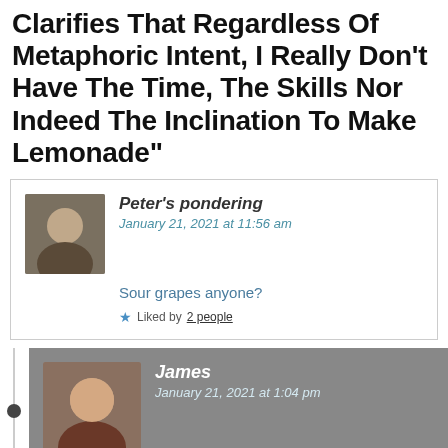Clarifies That Regardless Of Metaphoric Intent, I Really Don't Have The Time, The Skills Nor Indeed The Inclination To Make Lemonade"
Peter's pondering
January 21, 2021 at 11:56 am
Sour grapes anyone?
Liked by 2 people
James
January 21, 2021 at 1:04 pm
I believe there are some quite